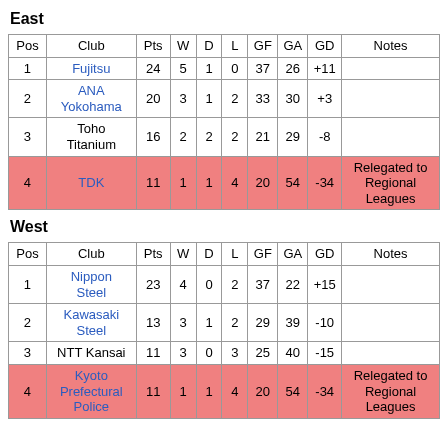East
| Pos | Club | Pts | W | D | L | GF | GA | GD | Notes |
| --- | --- | --- | --- | --- | --- | --- | --- | --- | --- |
| 1 | Fujitsu | 24 | 5 | 1 | 0 | 37 | 26 | +11 |  |
| 2 | ANA Yokohama | 20 | 3 | 1 | 2 | 33 | 30 | +3 |  |
| 3 | Toho Titanium | 16 | 2 | 2 | 2 | 21 | 29 | -8 |  |
| 4 | TDK | 11 | 1 | 1 | 4 | 20 | 54 | -34 | Relegated to Regional Leagues |
West
| Pos | Club | Pts | W | D | L | GF | GA | GD | Notes |
| --- | --- | --- | --- | --- | --- | --- | --- | --- | --- |
| 1 | Nippon Steel | 23 | 4 | 0 | 2 | 37 | 22 | +15 |  |
| 2 | Kawasaki Steel | 13 | 3 | 1 | 2 | 29 | 39 | -10 |  |
| 3 | NTT Kansai | 11 | 3 | 0 | 3 | 25 | 40 | -15 |  |
| 4 | Kyoto Prefectural Police | 11 | 1 | 1 | 4 | 20 | 54 | -34 | Relegated to Regional Leagues |